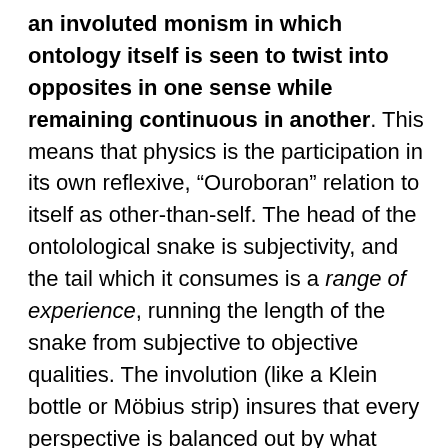an involuted monism in which ontology itself is seen to twist into opposites in one sense while remaining continuous in another. This means that physics is the participation in its own reflexive, “Ouroboran” relation to itself as other-than-self. The head of the ontolological snake is subjectivity, and the tail which it consumes is a range of experience, running the length of the snake from subjective to objective qualities. The involution (like a Klein bottle or Möbius strip) insures that every perspective is balanced out by what another perspective lacks, so that what private experience lacks in certainty, public experience makes up for, but at the expense of feeling and meaning. The who and they why are reflected in the snake’s tail as the what and the how.
The metaphor of light for consciousness is an ancient one,